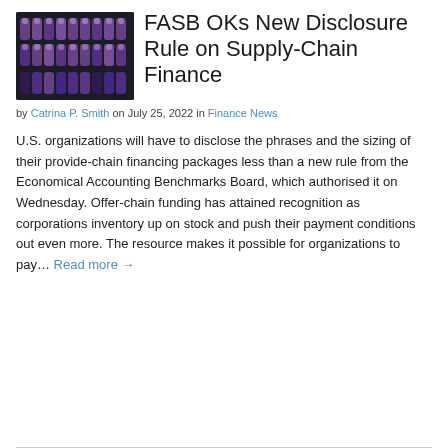[Figure (photo): Photo of purple-capped laboratory vials/tubes arranged in rows on a dark background]
FASB OKs New Disclosure Rule on Supply-Chain Finance
by Catrina P. Smith on July 25, 2022 in Finance News
U.S. organizations will have to disclose the phrases and the sizing of their provide-chain financing packages less than a new rule from the Economical Accounting Benchmarks Board, which authorised it on Wednesday. Offer-chain funding has attained recognition as corporations inventory up on stock and push their payment conditions out even more. The resource makes it possible for organizations to pay... Read more →